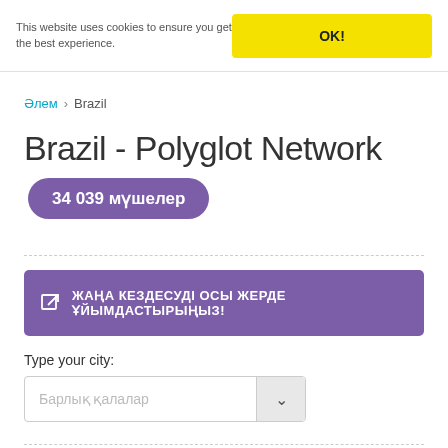This website uses cookies to ensure you get the best experience.
OK!
Әлем › Brazil
Brazil - Polyglot Network
34 039 мүшелер
ЖАҢА КЕЗДЕСУДІ ОСЫ ЖЕРДЕ ҰЙЫМДАСТЫРЫҢЫЗ!
Type your city:
Барлық қалалар